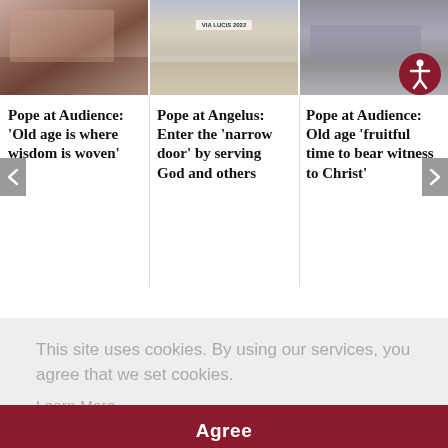[Figure (photo): Three photos in a horizontal row: people reaching out hands at a crowd event; a banner reading VIA LUCIS 2022 in a crowd; a person with hands/laptop in a setting.]
Pope at Audience: 'Old age is where wisdom is woven'
Pope at Angelus: Enter the 'narrow door' by serving God and others
Pope at Audience: Old age 'fruitful time to bear witness to Christ'
This site uses cookies. By using our services, you agree that we set cookies.
Learn More
Agree